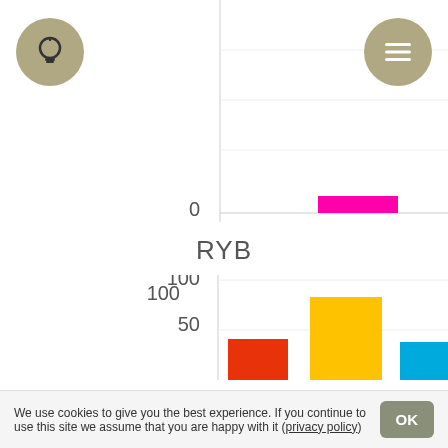[Figure (bar-chart): RYB]
[Figure (bar-chart): RYB]
We use cookies to give you the best experience. If you continue to use this site we assume that you are happy with it (privacy policy)